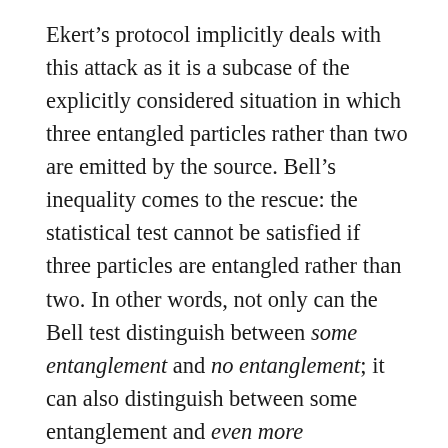Ekert's protocol implicitly deals with this attack as it is a subcase of the explicitly considered situation in which three entangled particles rather than two are emitted by the source. Bell's inequality comes to the rescue: the statistical test cannot be satisfied if three particles are entangled rather than two. In other words, not only can the Bell test distinguish between some entanglement and no entanglement; it can also distinguish between some entanglement and even more entanglement. While the adversary can get away with eavesdropping on a few particles in this manner, the probability of this misbehavior being noticed rises with the number of